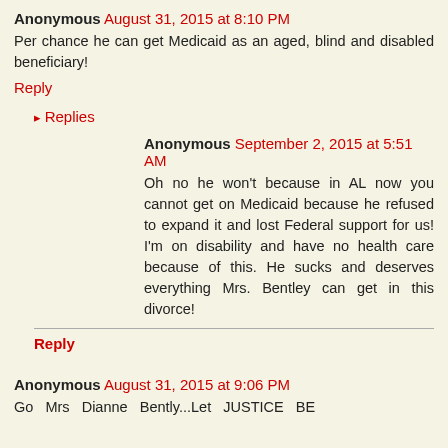Anonymous August 31, 2015 at 8:10 PM
Per chance he can get Medicaid as an aged, blind and disabled beneficiary!
Reply
Replies
Anonymous September 2, 2015 at 5:51 AM
Oh no he won't because in AL now you cannot get on Medicaid because he refused to expand it and lost Federal support for us! I'm on disability and have no health care because of this. He sucks and deserves everything Mrs. Bentley can get in this divorce!
Reply
Anonymous August 31, 2015 at 9:06 PM
Go Mrs Dianne Bently...Let JUSTICE BE